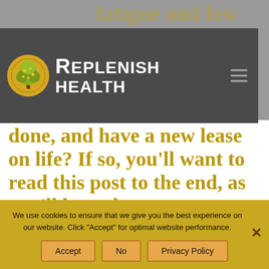[Figure (logo): Replenish Health logo with golden tree icon and white text on dark gray background]
fatigue and low energy, Would you like to feel more energetic, get things done, and have a new lease on life? If so, you'll want to read this post to the end, as you'll learn how you can regain your energy by making some simple changes to the way you eat.
We use cookies to ensure that we give you the best experience on our website. Click "Accept" for optimal website performance.